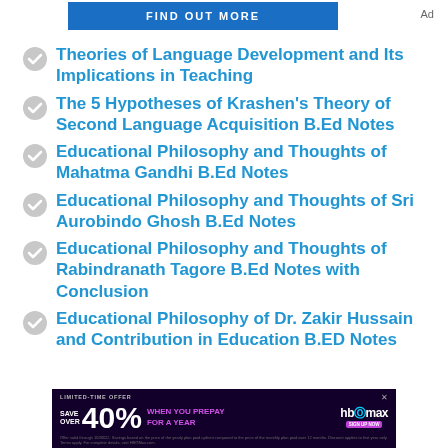[Figure (other): Blue 'FIND OUT MORE' advertisement banner at top with 'Ad' label]
Theories of Language Development and Its Implications in Teaching
The 5 Hypotheses of Krashen's Theory of Second Language Acquisition B.Ed Notes
Educational Philosophy and Thoughts of Mahatma Gandhi B.Ed Notes
Educational Philosophy and Thoughts of Sri Aurobindo Ghosh B.Ed Notes
Educational Philosophy and Thoughts of Rabindranath Tagore B.Ed Notes with Conclusion
Educational Philosophy of Dr. Zakir Hussain and Contribution in Education B.ED Notes
[Figure (other): HBO Max advertisement banner: 'LIMITED-TIME OFFER SAVE OVER 40% WHEN YOU PREPAY FOR A YEAR' with HBO Max logo and fine print]